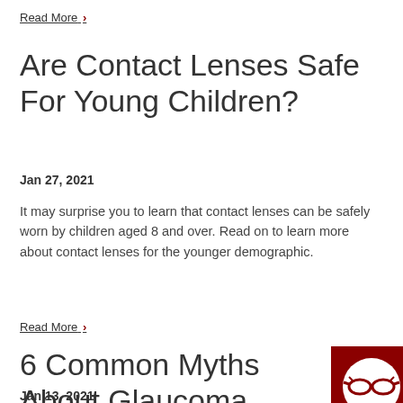Read More ›
Are Contact Lenses Safe For Young Children?
Jan 27, 2021
It may surprise you to learn that contact lenses can be safely worn by children aged 8 and over. Read on to learn more about contact lenses for the younger demographic.
Read More ›
6 Common Myths About Glaucoma
Jan 13, 2021